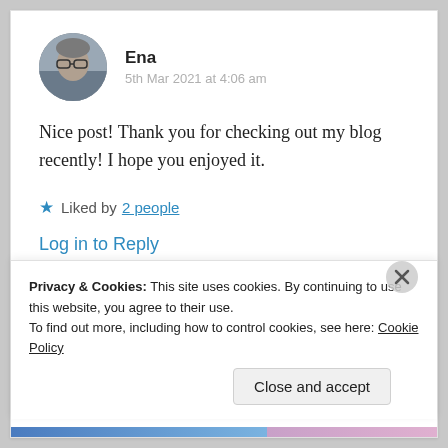Ena
5th Mar 2021 at 4:06 am
Nice post! Thank you for checking out my blog recently! I hope you enjoyed it.
Liked by 2 people
Log in to Reply
Privacy & Cookies: This site uses cookies. By continuing to use this website, you agree to their use.
To find out more, including how to control cookies, see here: Cookie Policy
Close and accept